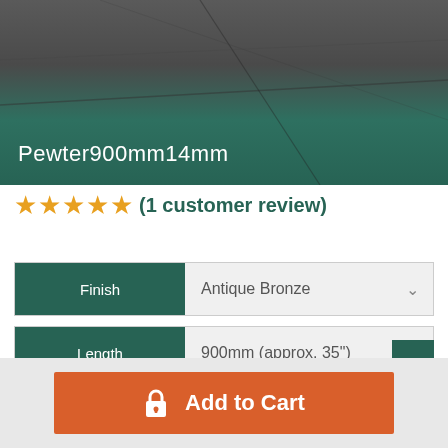[Figure (photo): Product photo of a tile threshold strip in pewter/dark stone finish with teal/green colour band at bottom. Label reading 'Pewter900mm14mm' overlaid on the teal section.]
★★★★★ (1 customer review)
| Attribute | Value |
| --- | --- |
| Finish | Antique Bronze |
| Length | 900mm (approx. 35") |
| Threshold Width | 14mm |
Add to Cart